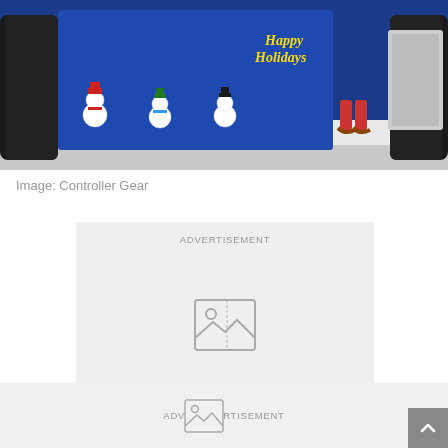[Figure (photo): Nintendo Switch gaming console with holiday/Christmas themed skin featuring snowmen and 'Happy Holidays' text on a blue background, shown with Joy-Con controllers attached and dock unit visible]
Image: Controller Gear
[Figure (other): Advertisement placeholder box with broken image icon and text 'ADVERTISEMENT']
[Figure (other): Advertisement placeholder bar at bottom with broken image icon and text 'ADVERTISEMENT']